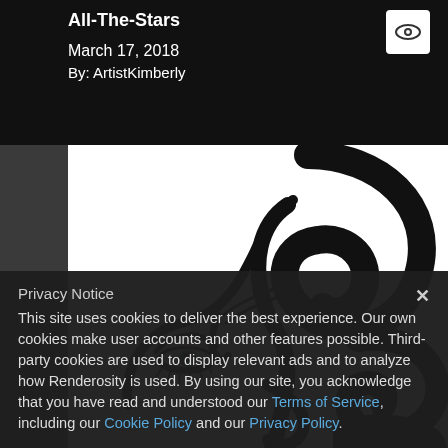All-The-Stars
March 17, 2018
By: ArtistKimberly
[Figure (illustration): Black and white stylized illustration of a woman's face with swirling decorative hair patterns, partially visible eye with green iris, and artistic curling details.]
Privacy Notice
This site uses cookies to deliver the best experience. Our own cookies make user accounts and other features possible. Third-party cookies are used to display relevant ads and to analyze how Renderosity is used. By using our site, you acknowledge that you have read and understood our Terms of Service, including our Cookie Policy and our Privacy Policy.